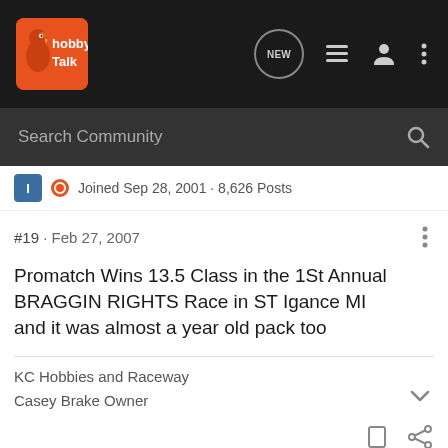Hobby Talk - NEW
Search Community
Joined Sep 28, 2001 · 8,626 Posts
#19 · Feb 27, 2007
Promatch Wins 13.5 Class in the 1St Annual BRAGGIN RIGHTS Race in ST Igance MI
and it was almost a year old pack too
KC Hobbies and Raceway
Casey Brake Owner
LARCGuy · Registered